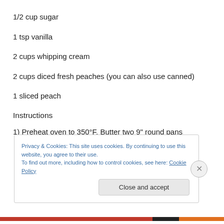1/2 cup sugar
1 tsp vanilla
2 cups whipping cream
2 cups diced fresh peaches (you can also use canned)
1 sliced peach
Instructions
1) Preheat oven to 350°F. Butter two 9" round pans
Privacy & Cookies: This site uses cookies. By continuing to use this website, you agree to their use.
To find out more, including how to control cookies, see here: Cookie Policy